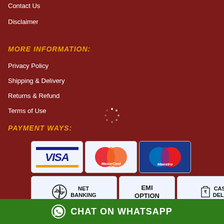Contact Us
Disclaimer
MORE INFORMATION:
Privacy Policy
Shipping & Delivery
Returns & Refund
Terms of Use
PAYMENT WAYS:
[Figure (infographic): Payment method logos: Visa, MasterCard, Maestro, Net Banking, EMI Option, Cash on Delivery]
CHAT ON WHATSAPP